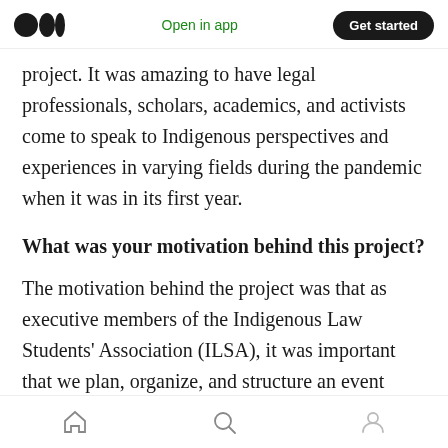Medium logo | Open in app | Get started
project. It was amazing to have legal professionals, scholars, academics, and activists come to speak to Indigenous perspectives and experiences in varying fields during the pandemic when it was in its first year.
What was your motivation behind this project?
The motivation behind the project was that as executive members of the Indigenous Law Students' Association (ILSA), it was important that we plan, organize, and structure an event
Home | Search | Profile